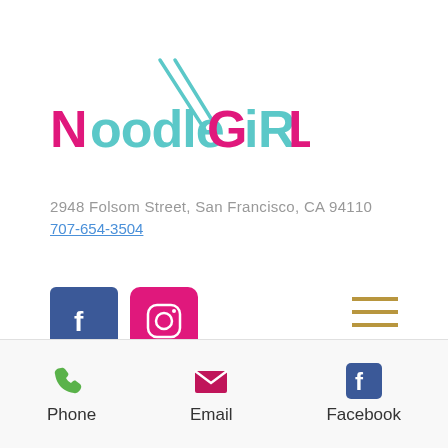[Figure (logo): NoodleGirl restaurant logo with chopsticks graphic. Text reads 'NoodleGiRL' in mixed magenta and teal colors.]
2948 Folsom Street, San Francisco, CA 94110
707-654-3504
[Figure (other): Facebook and Instagram social media icons, plus a hamburger menu icon in gold/brown color on the right.]
[Figure (other): Bottom navigation bar with Phone, Email, and Facebook icons and labels.]